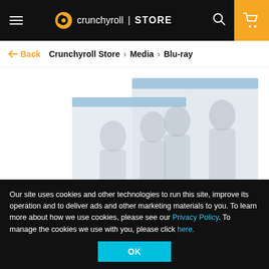crunchyroll | STORE
← Back   Crunchyroll Store > Media > Blu-ray
[Figure (photo): Two Blu-ray disc cases featuring anime artwork showing characters, faded/washed out appearance]
Our site uses cookies and other technologies to run this site, improve its operation and to deliver ads and other marketing materials to you. To learn more about how we use cookies, please see our Privacy Policy. To manage the cookies we use with you, please click here.
OK